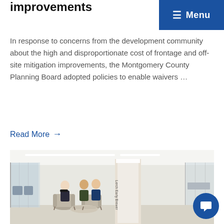improvements
≡ Menu
In response to concerns from the development community about the high and disproportionate cost of frontage and off-site mitigation improvements, the Montgomery County Planning Board adopted policies to enable waivers …
Read More →
[Figure (photo): Office lobby area with four people seated in gray lounge chairs having a meeting near a tall white column with a company logo. Modern glass-walled office space visible in background.]